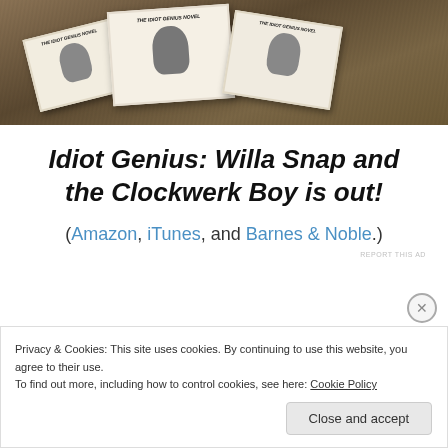[Figure (photo): Photo of multiple small printed booklets/cards with 'Idiot Genius Novel' text and figure illustrations, scattered on a wooden surface]
Idiot Genius: Willa Snap and the Clockwerk Boy is out!
(Amazon, iTunes, and Barnes & Noble.)
REPORT THIS AD
Privacy & Cookies: This site uses cookies. By continuing to use this website, you agree to their use.
To find out more, including how to control cookies, see here: Cookie Policy